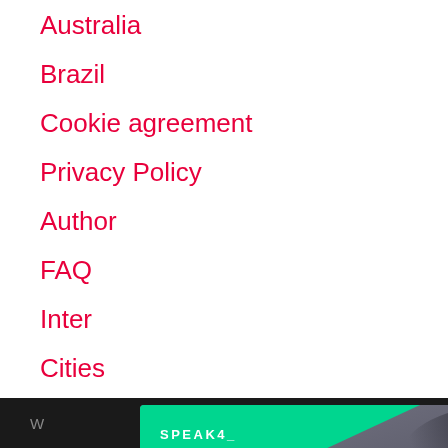Australia
Brazil
Cookie agreement
Privacy Policy
Author
FAQ
Inter
Cities
[Figure (screenshot): Speak4 promotional modal popup showing a woman speaking into a megaphone in a crowd (grayscale photo), with teal triangle accent, Speak4_ logo, close X button, teal number 4, headline 'Ditch Clunky Advocacy Tools', sponsor 'Speak4', and a right arrow navigation button]
W e.